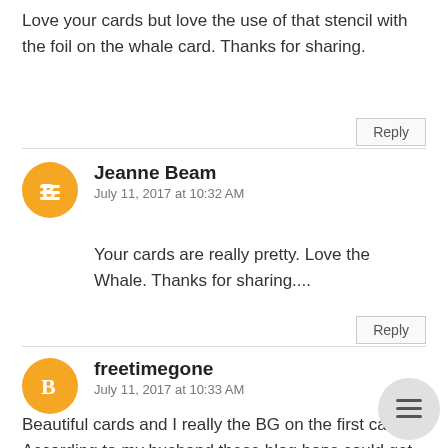Love your cards but love the use of that stencil with the foil on the whale card. Thanks for sharing.
Reply
Jeanne Beam
July 11, 2017 at 10:32 AM
Your cards are really pretty. Love the Whale. Thanks for sharing....
Reply
freetimegone
July 11, 2017 at 10:33 AM
Beautiful cards and I really the BG on the first card. According to my husband these blog hops could get